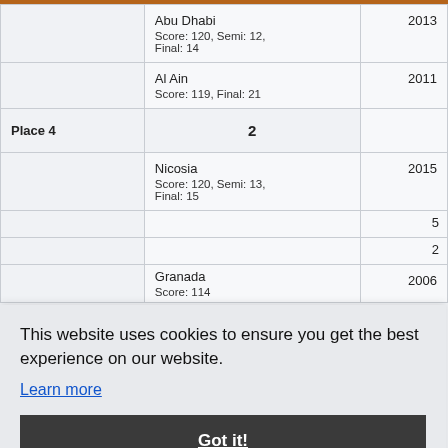| Place | Count | City / Score | Year |
| --- | --- | --- | --- |
|  |  | Abu Dhabi
Score: 120, Semi: 12, Final: 14 | 2013 |
|  |  | Al Ain
Score: 119, Final: 21 | 2011 |
| Place 4 | 2 |  |  |
|  |  | Nicosia
Score: 120, Semi: 13, Final: 15 | 2015 |
|  |  | (partial row) | 5 |
|  |  | (partial row) | 2 |
|  |  | Granada
Score: 114 | 2006 |
This website uses cookies to ensure you get the best experience on our website.
Learn more
Got it!